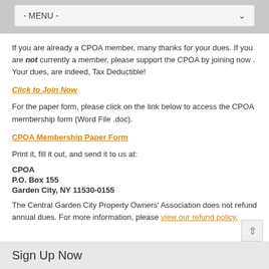- MENU -
If you are already a CPOA member, many thanks for your dues. If you are not currently a member, please support the CPOA by joining now . Your dues, are indeed, Tax Deductible!
Click to Join Now
For the paper form, please click on the link below to access the CPOA membership form (Word File .doc).
CPOA Membership Paper Form
Print it, fill it out, and send it to us at:
CPOA
P.O. Box 155
Garden City, NY 11530-0155
The Central Garden City Property Owners' Association does not refund annual dues. For more information, please view our refund policy.
Sign Up Now